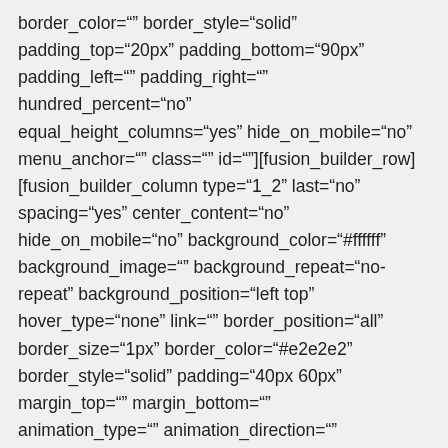border_color="" border_style="solid" padding_top="20px" padding_bottom="90px" padding_left="" padding_right="" hundred_percent="no" equal_height_columns="yes" hide_on_mobile="no" menu_anchor="" class="" id=""][fusion_builder_row][fusion_builder_column type="1_2" last="no" spacing="yes" center_content="no" hide_on_mobile="no" background_color="#ffffff" background_image="" background_repeat="no-repeat" background_position="left top" hover_type="none" link="" border_position="all" border_size="1px" border_color="#e2e2e2" border_style="solid" padding="40px 60px" margin_top="" margin_bottom="" animation_type="" animation_direction="" animation_speed="0.1" animation_offset=""